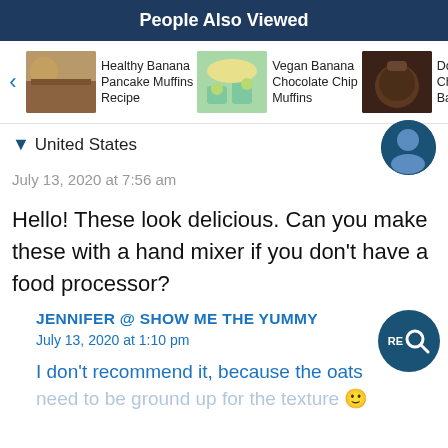People Also Viewed
[Figure (screenshot): Carousel of recipe links: Healthy Banana Pancake Muffins Recipe, Vegan Banana Chocolate Chip Muffins, Double Cho... Bana...]
United States
July 13, 2020 at 7:56 am
Hello! These look delicious. Can you make these with a hand mixer if you don't have a food processor?
JENNIFER @ SHOW ME THE YUMMY
July 13, 2020 at 1:10 pm
I don't recommend it, because the oats need to be ground up for the texture 🙂